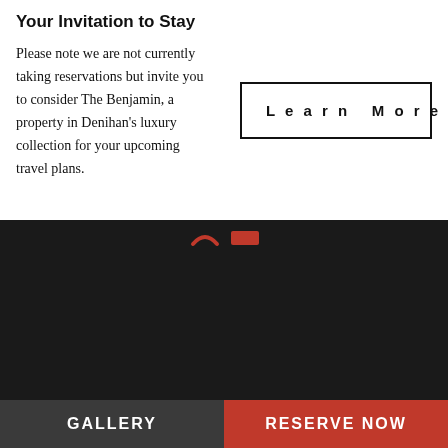Your Invitation to Stay
Please note we are not currently taking reservations but invite you to consider The Benjamin, a property in Denihan’s luxury collection for your upcoming travel plans.
Learn More
[Figure (logo): THE SURREY hotel logo in white text on dark background with vertical divider bar]
GALLERY
RESERVE NOW